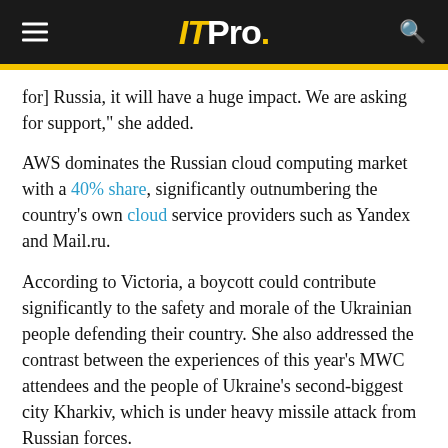IT Pro.
for] Russia, it will have a huge impact. We are asking for support,” she added.
AWS dominates the Russian cloud computing market with a 40% share, significantly outnumbering the country’s own cloud service providers such as Yandex and Mail.ru.
According to Victoria, a boycott could contribute significantly to the safety and morale of the Ukrainian people defending their country. She also addressed the contrast between the experiences of this year’s MWC attendees and the people of Ukraine’s second-biggest city Kharkiv, which is under heavy missile attack from Russian forces.